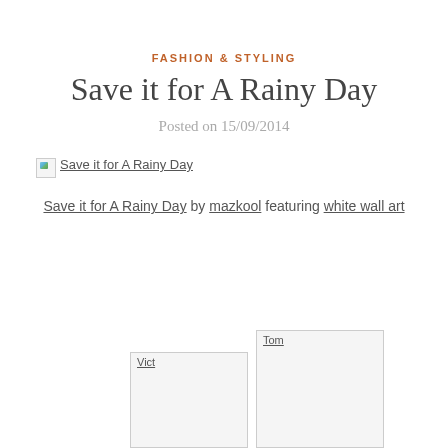FASHION & STYLING
Save it for A Rainy Day
Posted on 15/09/2014
[Figure (photo): Broken image placeholder for 'Save it for A Rainy Day']
Save it for A Rainy Day by mazkool featuring white wall art
[Figure (photo): Broken image thumbnail labeled 'Vict']
[Figure (photo): Broken image thumbnail labeled 'Tom']